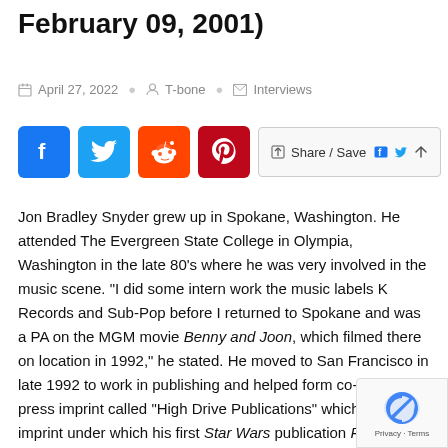February 09, 2001)
April 27, 2022   T-bone   Interviews
[Figure (other): Social sharing buttons: Facebook, Twitter, Reddit, Pinterest, and a Share/Save button]
Jon Bradley Snyder grew up in Spokane, Washington. He attended The Evergreen State College in Olympia, Washington in the late 80's where he was very involved in the music scene. "I did some intern work the music labels K Records and Sub-Pop before I returned to Spokane and was a PA on the MGM movie Benny and Joon, which filmed there on location in 1992," he stated. He moved to San Francisco in late 1992 to work in publishing and helped form co-op small press imprints called "High Drive Publications" which was the imprint under which his first Star Wars publication Report from